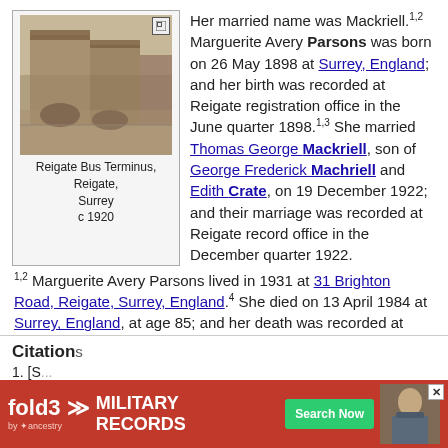[Figure (photo): Old sepia photograph of Reigate Bus Terminus, Reigate, Surrey c 1920, showing a street scene with historic buildings and horse-drawn vehicles]
Her married name was Mackriell.1,2 Marguerite Avery Parsons was born on 26 May 1898 at Surrey, England; and her birth was recorded at Reigate registration office in the June quarter 1898.1,3 She married Thomas George Mackriell, son of George Frederick Machriell and Edith Crate, on 19 December 1922; and their marriage was recorded at Reigate record office in the December quarter 1922.1,2 Marguerite Avery Parsons lived in 1931 at 31 Brighton Road, Reigate, Surrey, England.4 She died on 13 April 1984 at Surrey, England, at age 85; and her death was recorded at Surrey Mid Eastern registration office in April 1984.1,5
Family  Thomas George Mackriell b. 3 Dec 1895, d. 19 Feb 1969
Citations
1. [S...
[Figure (advertisement): fold3 Military Records advertisement banner by Ancestry with Search Now button]